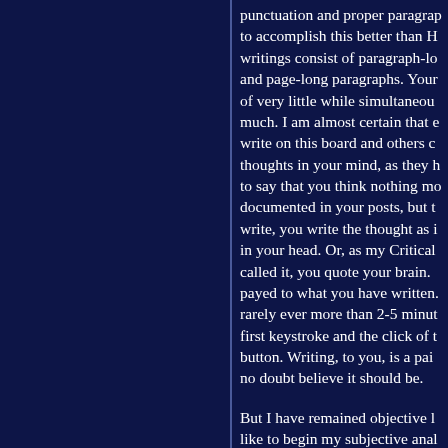punctuation and proper paragrap to accomplish this better than H writings consist of paragraph-lo and page-long paragraphs. Your of very little while simultaneou much. I am almost certain that e write on this board and others c thoughts in your mind, as they h to say that you think nothing mo documented in your posts, but t write, you write the thought as i in your head. Or, as my Critical called it, you quote your brain. payed to what you have written. rarely ever more than 2-5 minut first keystroke and the click of t button. Writing, to you, is a pai no doubt believe it should be. But I have remained objective l like to begin my subjective anal by nature, I am not an emotiona strech of the imagination. I do m with people who's opinions diff especially when said people are